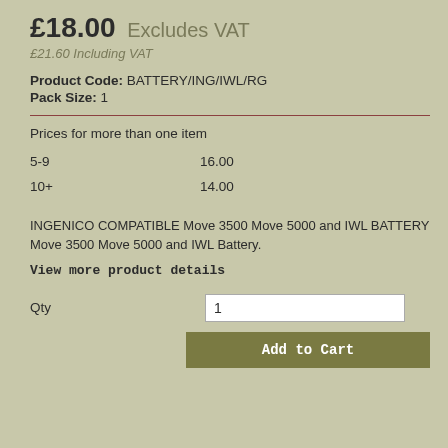£18.00 Excludes VAT
£21.60 Including VAT
Product Code: BATTERY/ING/IWL/RG
Pack Size: 1
Prices for more than one item
| Quantity | Price |
| --- | --- |
| 5-9 | 16.00 |
| 10+ | 14.00 |
INGENICO COMPATIBLE Move 3500 Move 5000 and IWL BATTERY Move 3500 Move 5000 and IWL Battery.
View more product details
Qty
1
Add to Cart